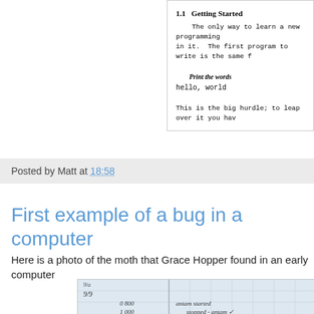[Figure (screenshot): Excerpt from a book showing section '1.1 Getting Started' with text about learning programming and a code example 'hello, world'. Text reads: 'The only way to learn a new programming in it. The first program to write is the same f... Print the words hello, world This is the big hurdle; to leap over it you hav...']
Posted by Matt at 18:58
First example of a bug in a computer
Here is a photo of the moth that Grace Hopper found in an early computer
[Figure (photo): A historical logbook photo showing handwritten entries. Dates 9/9 visible, times 0800 and 1000, handwritten text reading 'antam started', 'stopped - antam' with checkmark.]